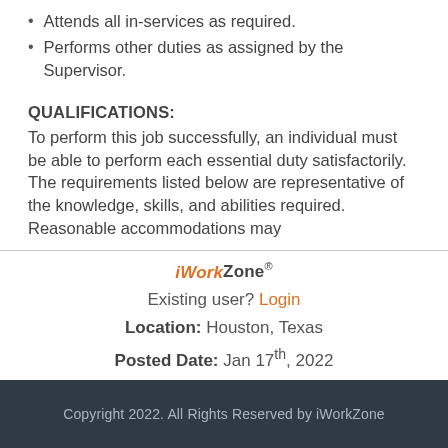Attends all in-services as required.
Performs other duties as assigned by the Supervisor.
QUALIFICATIONS:
To perform this job successfully, an individual must be able to perform each essential duty satisfactorily. The requirements listed below are representative of the knowledge, skills, and abilities required. Reasonable accommodations may
iWorkZone®
Existing user? Login
Location: Houston, Texas
Posted Date: Jan 17th, 2022
Copyright 2022. All Rights Reserved by iWorkZone